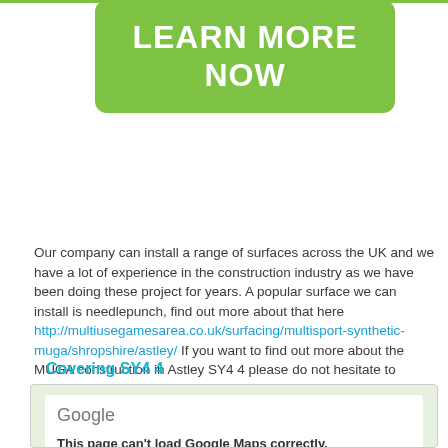[Figure (other): Green rounded rectangle button with white bold text reading LEARN MORE NOW]
Our company can install a range of surfaces across the UK and we have a lot of experience in the construction industry as we have been doing these project for years. A popular surface we can install is needlepunch, find out more about that here http://multiusegamesarea.co.uk/surfacing/multisport-synthetic-muga/shropshire/astley/ If you want to find out more about the MUGA construction in Astley SY4 4 please do not hesitate to contact us today, all you have to do is fill out the enquiry form and a member of our team will get back to you as soon as possible.
Covering SY4 4
[Figure (screenshot): Google Maps embed showing an error: This page can't load Google Maps correctly.]